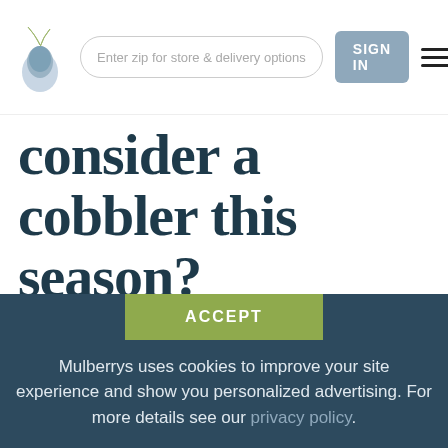Enter zip for store & delivery options | SIGN IN
consider a cobbler this season?
1. Using a cobbler is eco-friendly. Each year, millions of shoes fill landfills and garbage dumpsters. Not all shoes contain materials that are recyclable. When you use a cobbler, you keep old shoes from littering the earth. At Mulberrys
ACCEPT
Mulberrys uses cookies to improve your site experience and show you personalized advertising. For more details see our privacy policy.